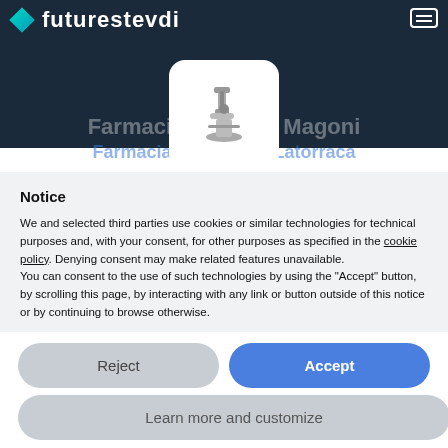futurestevdi
[Figure (screenshot): Cookie consent notice dialog overlaid on a website. Contains a microscope icon, notice text about cookies, and Reject/Accept/Learn more buttons.]
Notice
We and selected third parties use cookies or similar technologies for technical purposes and, with your consent, for other purposes as specified in the cookie policy. Denying consent may make related features unavailable.
You can consent to the use of such technologies by using the "Accept" button, by scrolling this page, by interacting with any link or button outside of this notice or by continuing to browse otherwise.